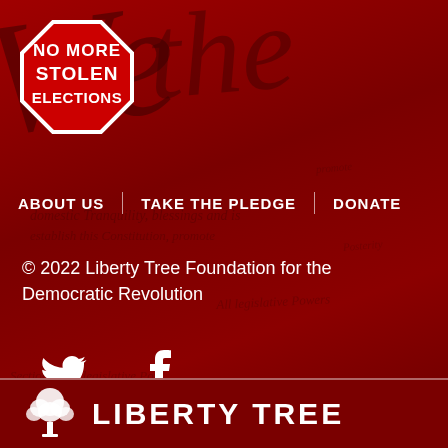[Figure (logo): Red stop sign octagon with white text 'NO MORE STOLEN ELECTIONS']
[Figure (infographic): Navigation links: ABOUT US | TAKE THE PLEDGE | DONATE on dark red background with cursive watermark text from US Constitution]
© 2022 Liberty Tree Foundation for the Democratic Revolution
[Figure (logo): Twitter bird icon and Facebook 'f' icon in white]
[Figure (logo): White tree icon with 'LIBERTY TREE' text in white bold uppercase letters on dark red bar at bottom]